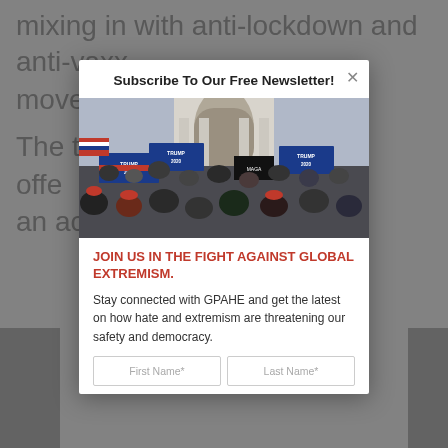mixing in with anti-lockdown and anti-vaxx movements.
The [text] who often [text] ing an ac[text] ade
Subscribe To Our Free Newsletter!
[Figure (photo): Crowd of people with Trump 2020 flags and banners outside a building, depicting the January 6 Capitol events]
JOIN US IN THE FIGHT AGAINST GLOBAL EXTREMISM.
Stay connected with GPAHE and get the latest on how hate and extremism are threatening our safety and democracy.
First Name*   Last Name*